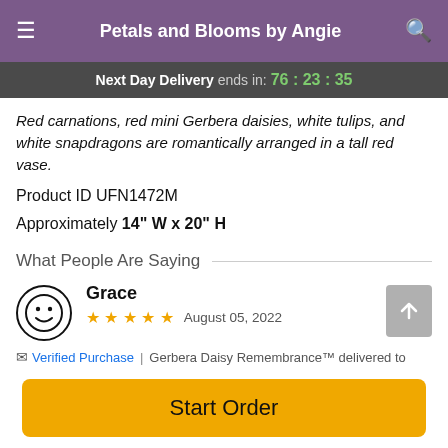Petals and Blooms by Angie
Next Day Delivery ends in: 76:23:35
Red carnations, red mini Gerbera daisies, white tulips, and white snapdragons are romantically arranged in a tall red vase.
Product ID UFN1472M
Approximately 14" W x 20" H
What People Are Saying
Grace
★★★★★  August 05, 2022
Verified Purchase  |  Gerbera Daisy Remembrance™ delivered to
Start Order